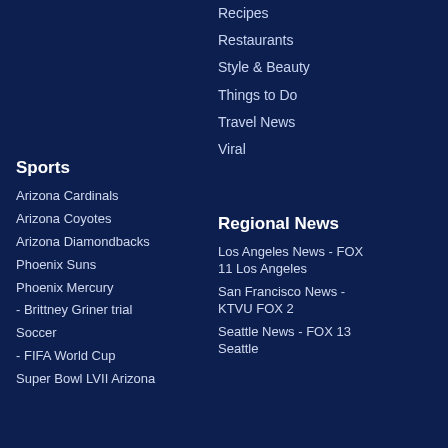Recipes
Restaurants
Style & Beauty
Things to Do
Travel News
Viral
Sports
Arizona Cardinals
Arizona Coyotes
Arizona Diamondbacks
Phoenix Suns
Phoenix Mercury
- Brittney Griner trial
Soccer
- FIFA World Cup
Super Bowl LVII Arizona
Regional News
Los Angeles News - FOX 11 Los Angeles
San Francisco News - KTVU FOX 2
Seattle News - FOX 13 Seattle